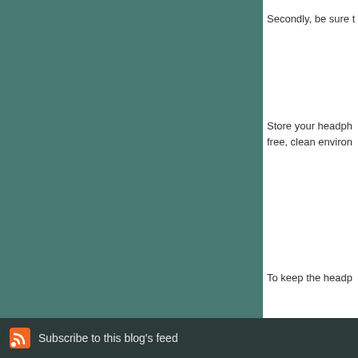Secondly, be sure t...
Store your headph... free, clean environ...
To keep the headp...
2014-3-12 周三 8:32:46
Com...
« Previous
Subscribe to this blog's feed